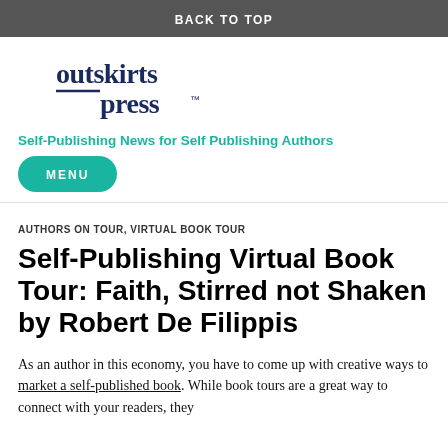BACK TO TOP
[Figure (logo): Outskirts Press logo in dark navy blue text]
Self-Publishing News for Self Publishing Authors
MENU
AUTHORS ON TOUR, VIRTUAL BOOK TOUR
Self-Publishing Virtual Book Tour: Faith, Stirred not Shaken by Robert De Filippis
As an author in this economy, you have to come up with creative ways to market a self-published book. While book tours are a great way to connect with your readers, they